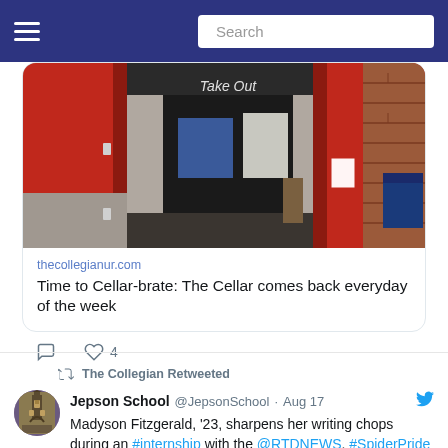≡  Search
[Figure (photo): Interior of The Cellar dining area with red walls, brick, and a Take Out sign above a dark doorway]
thecollegianur.com
Time to Cellar-brate: The Cellar comes back everyday of the week
♡ 4
The Collegian Retweeted
Jepson School @JepsonSchool · Aug 17
Madyson Fitzgerald, '23, sharpens her writing chops during an #internship with the @RTDNEWS. #SpiderPride 🕷️❤️💙